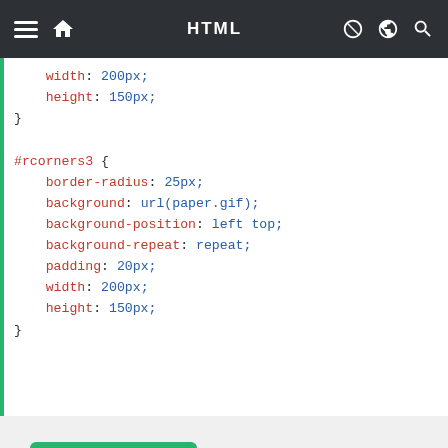HTML
width: 200px;
  height: 150px;
}

#rcorners3 {
  border-radius: 25px;
  background: url(paper.gif);
  background-position: left top;
  background-repeat: repeat;
  padding: 20px;
  width: 200px;
  height: 150px;
}
Try it Yourself »